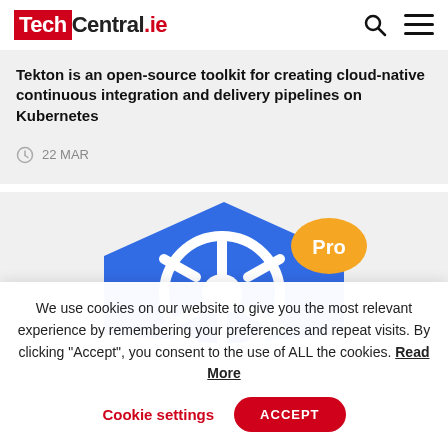TechCentral.ie
Tekton is an open-source toolkit for creating cloud-native continuous integration and delivery pipelines on Kubernetes
22 MAR
[Figure (illustration): Kubernetes logo (blue hexagon with ship wheel) with an orange 'Pro' badge in upper right]
We use cookies on our website to give you the most relevant experience by remembering your preferences and repeat visits. By clicking “Accept”, you consent to the use of ALL the cookies. Read More
Cookie settings  ACCEPT